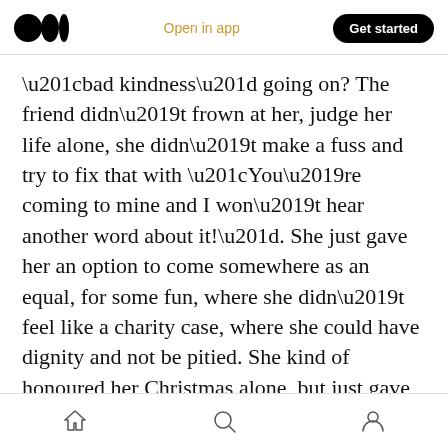Medium logo | Open in app | Get started
“bad kindness” going on? The friend didn’t frown at her, judge her life alone, she didn’t make a fuss and try to fix that with “You’re coming to mine and I won’t hear another word about it!”. She just gave her an option to come somewhere as an equal, for some fun, where she didn’t feel like a charity case, where she could have dignity and not be pitied. She kind of honoured her Christmas alone, but just gave her a bit of company to look forward to.
Christmas is full of folk doing what they think that “less fortunate” people need at this time of year.
Home | Search | Profile